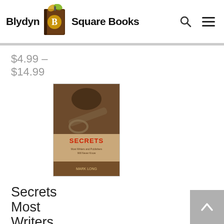Blydyn Square Books
$4.99 – $14.99
[Figure (photo): Book cover image for 'Secrets Most Writers and Publishers Will Never' — shows a vintage key on a worn background with red text reading 'SECRETS']
Secrets Most Writers and Publishers Will Never